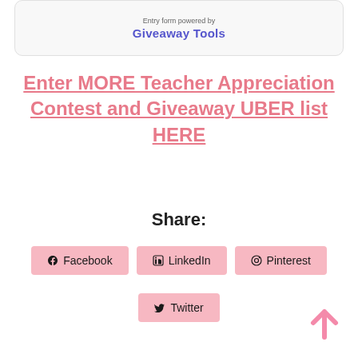[Figure (screenshot): Entry form powered by Giveaway Tools widget box at top of page]
Enter MORE Teacher Appreciation Contest and Giveaway UBER list HERE
Share:
Facebook
LinkedIn
Pinterest
Twitter